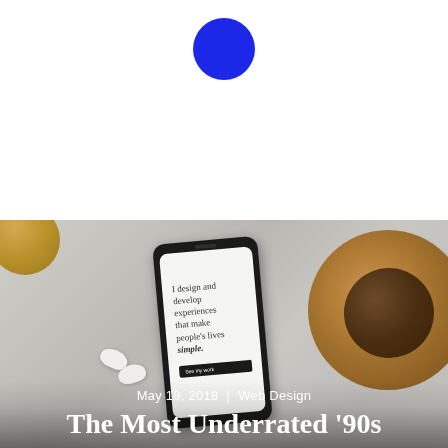[Figure (illustration): Blue filled circle / dot centered near the top of the white upper section]
[Figure (photo): Overhead photo of a smartphone lying on a grey surface displaying a portfolio website with text 'I design and develop experiences that make people's lives simple.' Nearby are white wireless earbuds, a cork coaster with a glass of drink, and a gold-toned cup partially visible at top-left. Photo is overlaid with dark gradient at bottom.]
May 18, 2018   |  Web Design
The Most Underrated '90s